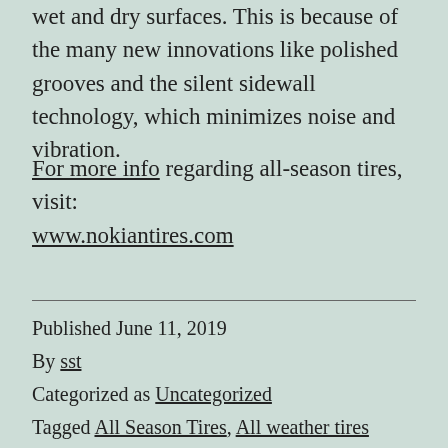wet and dry surfaces. This is because of the many new innovations like polished grooves and the silent sidewall technology, which minimizes noise and vibration.
For more info regarding all-season tires, visit: www.nokiantires.com
Published June 11, 2019
By sst
Categorized as Uncategorized
Tagged All Season Tires, All weather tires